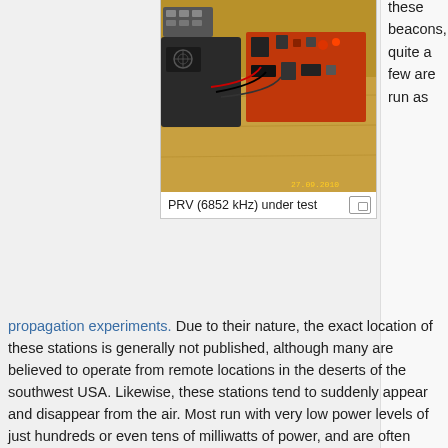these beacons, quite a few are run as
[Figure (photo): A radio beacon circuit board with electronic components on a wooden workbench, with a power supply unit visible. Date stamp reads 27.09.2010.]
PRV (6852 kHz) under test
propagation experiments. Due to their nature, the exact location of these stations is generally not published, although many are believed to operate from remote locations in the deserts of the southwest USA. Likewise, these stations tend to suddenly appear and disappear from the air. Most run with very low power levels of just hundreds or even tens of milliwatts of power, and are often solar powered, so they can be hidden in open areas. Some are switched via a photocell, so they only operate at night, running off of a battery that is charged during the daytime by a solar panel.
There is a message board where listeners can report reception of beacons, it is also useful to see what other folks are presently hearing: